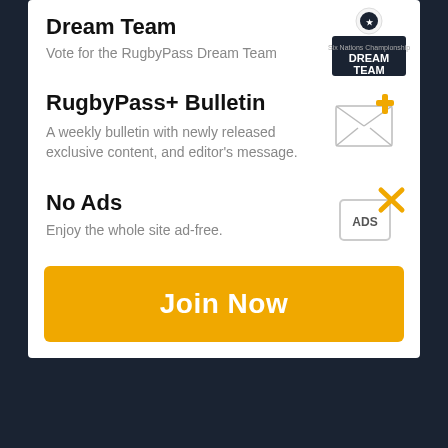Dream Team
Vote for the RugbyPass Dream Team
RugbyPass+ Bulletin
A weekly bulletin with newly released exclusive content, and editor's message.
No Ads
Enjoy the whole site ad-free.
Join Now